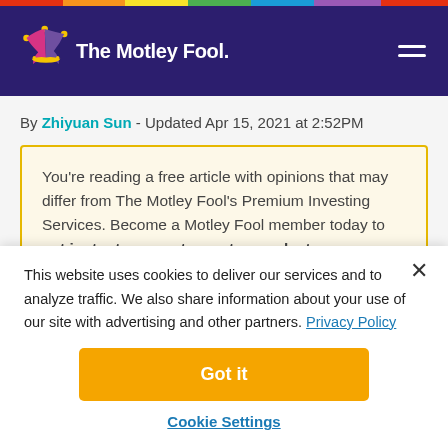The Motley Fool
By Zhiyuan Sun - Updated Apr 15, 2021 at 2:52PM
You’re reading a free article with opinions that may differ from The Motley Fool’s Premium Investing Services. Become a Motley Fool member today to get instant access to our top analyst recommendations, in-depth research, investing resources, and more. Learn More
This website uses cookies to deliver our services and to analyze traffic. We also share information about your use of our site with advertising and other partners. Privacy Policy
Got it
Cookie Settings